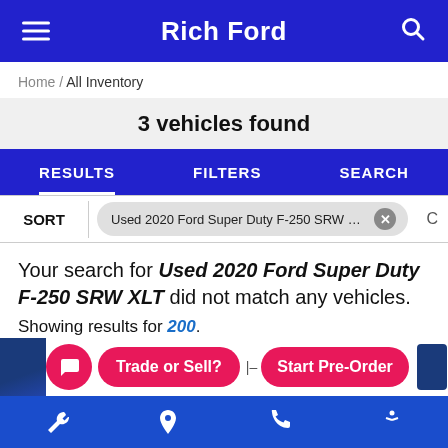Rich Ford
Home / All Inventory
3 vehicles found
RESULTS   FILTERS   SEARCH
SORT  Used 2020 Ford Super Duty F-250 SRW XLT  ×
Your search for Used 2020 Ford Super Duty F-250 SRW XLT did not match any vehicles.
Showing results for 200.
Trade or Sell?   Start Pre-Order